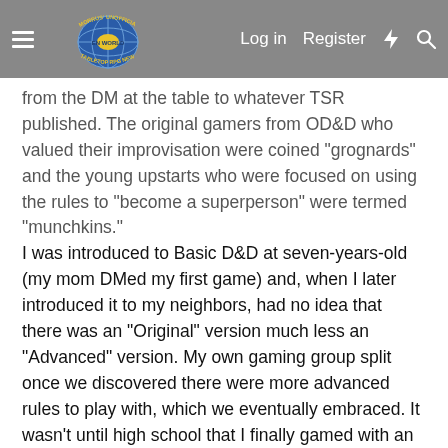Morrus' Unofficial Tabletop RPG News — Log in | Register
from the DM at the table to whatever TSR published. The original gamers from OD&D who valued their improvisation were coined "grognards" and the young upstarts who were focused on using the rules to "become a superperson" were termed "munchkins."
I was introduced to Basic D&D at seven-years-old (my mom DMed my first game) and, when I later introduced it to my neighbors, had no idea that there was an "Original" version much less an "Advanced" version. My own gaming group split once we discovered there were more advanced rules to play with, which we eventually embraced. It wasn't until high school that I finally gamed with an older player from college, who was so horrified by how chaotic our game was that he quit on the spot.
In short, I was one of the munchkins that grognards